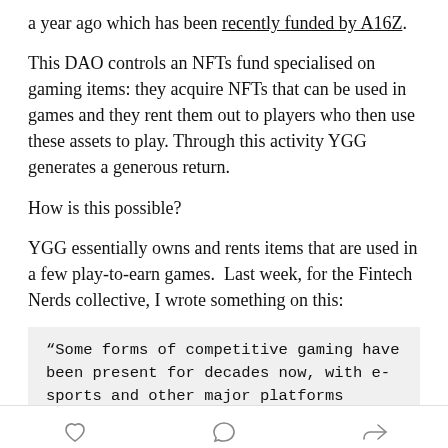a year ago which has been recently funded by A16Z.
This DAO controls an NFTs fund specialised on gaming items: they acquire NFTs that can be used in games and they rent them out to players who then use these assets to play. Through this activity YGG generates a generous return.
How is this possible?
YGG essentially owns and rents items that are used in a few play-to-earn games.  Last week, for the Fintech Nerds collective, I wrote something on this:
“Some forms of competitive gaming have been present for decades now, with e-sports and other major platforms getting
[heart icon] [comment icon] [share icon]